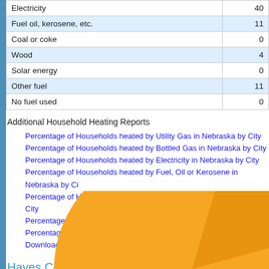|  |  |
| --- | --- |
| Electricity | 40 |
| Fuel oil, kerosene, etc. | 11 |
| Coal or coke | 0 |
| Wood | 4 |
| Solar energy | 0 |
| Other fuel | 11 |
| No fuel used | 0 |
Additional Household Heating Reports
Percentage of Households heated by Utility Gas in Nebraska by City
Percentage of Households heated by Bottled Gas in Nebraska by City
Percentage of Households heated by Electricity in Nebraska by City
Percentage of Households heated by Fuel, Oil or Kerosene in Nebraska by Ci...
Percentage of Households heated by Coal or Coke in Nebraska by City
Percentage of Households heated by Wood in Nebraska by City
Percentage of Households heated by Solar in Nebraska by City
Download Data
Hayes Center Property Value
[Figure (pie-chart): Partial pie chart showing property value distribution, with a large orange segment visible at the bottom of the page]